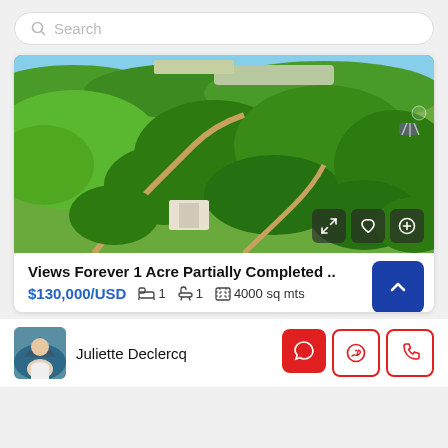Search
[Figure (photo): Aerial drone photo of lush green tropical landscape with a dirt road, partially constructed building, and hot air balloon in top right corner]
Views Forever 1 Acre Partially Completed ..
$130,000/USD   1 bed   1 bath   4000 sq mts
Juliette Declercq